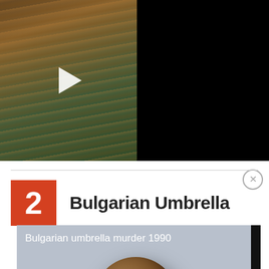[Figure (screenshot): Top video thumbnail showing a dark scene with wooden/fabric background and a white play button triangle in the center]
this is the best superhero love interest
2  Bulgarian Umbrella
[Figure (screenshot): Video thumbnail labeled 'Bulgarian umbrella murder 1990' showing a brown spherical ball with a dark play button overlay, on a light blue-grey background]